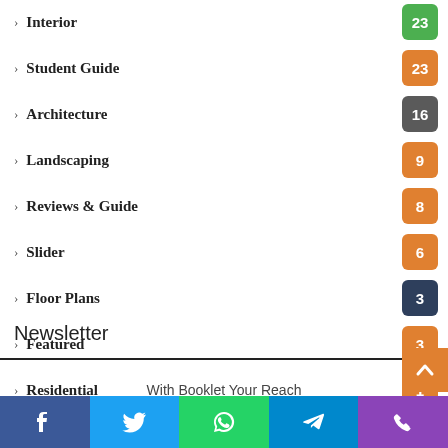Interior 23
Student Guide 23
Architecture 16
Landscaping 9
Reviews & Guide 8
Slider 6
Floor Plans 3
Featured 3
Residential 1
Editors Pick 1
Newsletter
With Booklet Your Reach